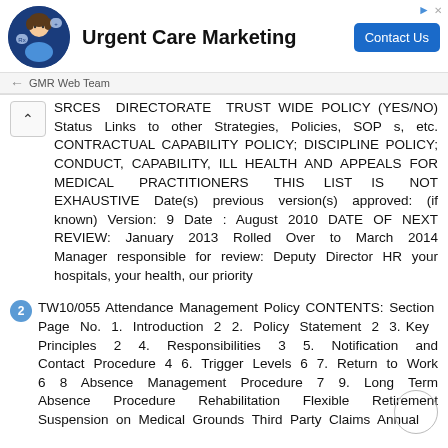[Figure (other): Advertisement banner for Urgent Care Marketing with a photo of a person in medical attire, a Contact Us button, and GMR Web Team source label]
SRCES DIRECTORATE Trust wide Policy (Yes/No) Status Links to other Strategies, Policies, SOP s, etc. CONTRACTUAL CAPABILITY POLICY; DISCIPLINE POLICY; CONDUCT, CAPABILITY, ILL HEALTH AND APPEALS FOR MEDICAL PRACTITIONERS THIS LIST IS NOT EXHAUSTIVE Date(s) previous version(s) approved: (if known) Version: 9 Date : August 2010 DATE OF NEXT REVIEW: January 2013 Rolled Over to March 2014 Manager responsible for review: Deputy Director HR your hospitals, your health, our priority
TW10/055 Attendance Management Policy CONTENTS: Section Page No. 1. Introduction 2 2. Policy Statement 2 3. Key Principles 2 4. Responsibilities 3 5. Notification and Contact Procedure 4 6. Trigger Levels 6 7. Return to Work 6 8 Absence Management Procedure 7 9. Long Term Absence Procedure Rehabilitation Flexible Retirement Suspension on Medical Grounds Third Party Claims Annual